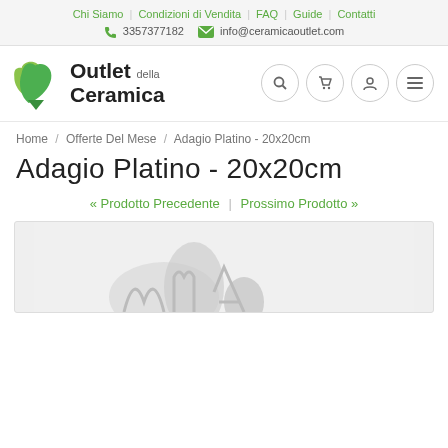Chi Siamo | Condizioni di Vendita | FAQ | Guide | Contatti
3357377182  info@ceramicaoutlet.com
[Figure (logo): Outlet della Ceramica logo with green diamond/leaf icon and bold text]
Home / Offerte Del Mese / Adagio Platino - 20x20cm
Adagio Platino - 20x20cm
« Prodotto Precedente | Prossimo Prodotto »
[Figure (photo): Product image of Adagio Platino ceramic tile 20x20cm, light grey/silver decorative pattern on white background]